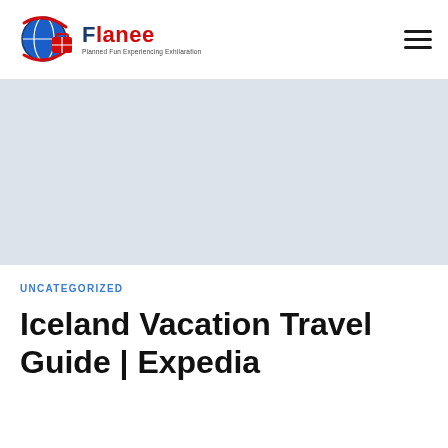Flanee — Planned Fun Experiencing Exhilaration
[Figure (other): Grey advertisement/banner placeholder area]
UNCATEGORIZED
Iceland Vacation Travel Guide | Expedia